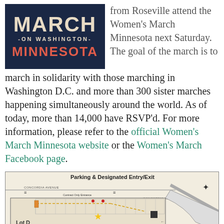[Figure (logo): Women's March on Washington Minnesota logo — dark navy background with 'MARCH' in cream/tan large text, '-ON WASHINGTON-' in small caps, and 'MINNESOTA' in large red/coral text]
from Roseville attend the Women's March Minnesota next Saturday.   The goal of the march is to march in solidarity with those marching in Washington D.C. and more than 300 sister marches happening simultaneously around the world. As of today, more than 14,000 have RSVP'd. For more information, please refer to the official Women's March Minnesota website or the Women's March Facebook page.
[Figure (map): Parking & Designated Entry/Exit map showing Concordia Avenue, Lot D, Lot E, contract only entrance, contract visitor exit, and designated parking areas with a star marker]